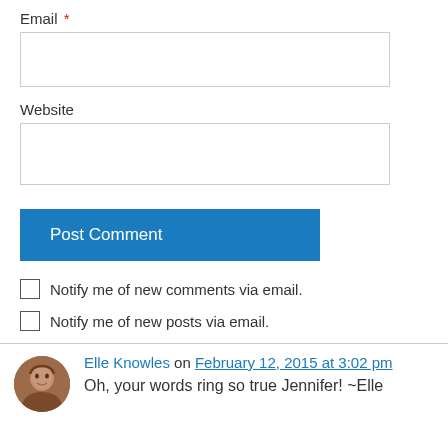Email *
Website
Post Comment
Notify me of new comments via email.
Notify me of new posts via email.
Elle Knowles on February 12, 2015 at 3:02 pm
Oh, your words ring so true Jennifer! ~Elle